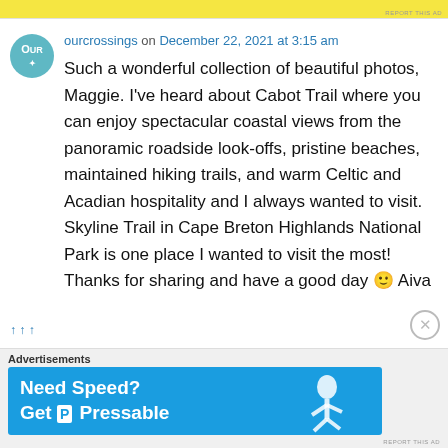[Figure (other): Yellow advertisement banner at top of page]
ourcrossings on December 22, 2021 at 3:15 am
Such a wonderful collection of beautiful photos, Maggie. I've heard about Cabot Trail where you can enjoy spectacular coastal views from the panoramic roadside look-offs, pristine beaches, maintained hiking trails, and warm Celtic and Acadian hospitality and I always wanted to visit. Skyline Trail in Cape Breton Highlands National Park is one place I wanted to visit the most! Thanks for sharing and have a good day 🙂 Aiva
Advertisements
[Figure (other): Blue advertisement banner: Need Speed? Get P Pressable with running figure graphic]